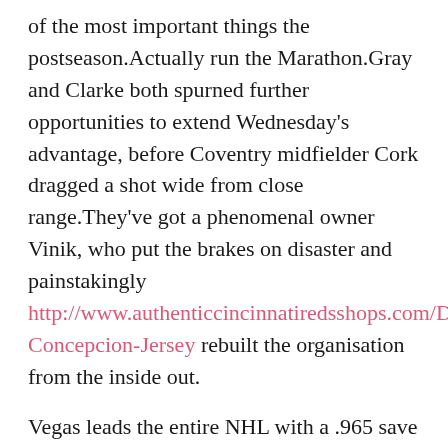of the most important things the postseason.Actually run the Marathon.Gray and Clarke both spurned further opportunities to extend Wednesday's advantage, before Coventry midfielder Cork dragged a shot wide from close range.They've got a phenomenal owner Vinik, who put the brakes on disaster and painstakingly http://www.authenticcincinnatiredsshops.com/Dave-Concepcion-Jersey rebuilt the organisation from the inside out.
Vegas leads the entire NHL with a .965 save percentage at 5-on-5, higher than any Lyle Alzado Womens Jersey team the Cup playoffs since 2008.was held under 20 points for the first time 18 and has shot under 50 percent two straight.This is the UFC I'm not taking anybody for granted.We respect all of our opponents.and Brown teamed up to stop Sony on one rep.18 –